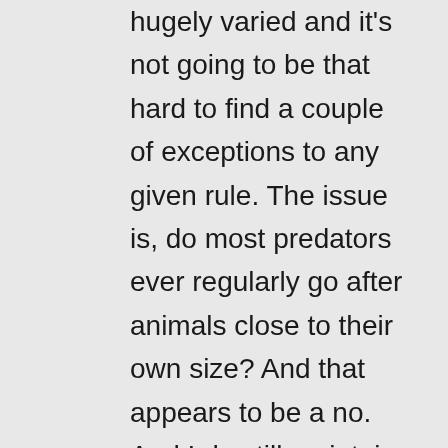hugely varied and it's not going to be that hard to find a couple of exceptions to any given rule. The issue is, do most predators ever regularly go after animals close to their own size? And that appears to be a no. And I do still maintain that predators don't tend to go after other predators – remember that most of them favour juvenile prey (H&R again) which will have underdeveloped jaws / tusks / horns etc. And suffer all manner of behavioural and ecological penalties that make them vulnerable to predators (a large part of why they are targeted).